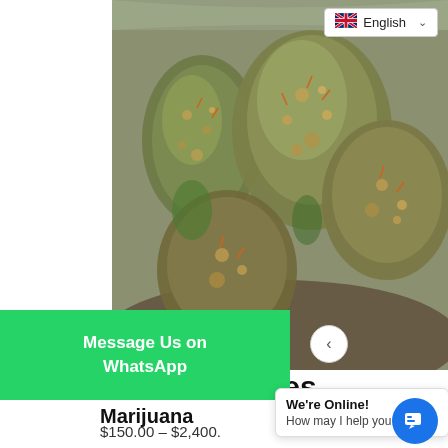[Figure (photo): Close-up photograph of cannabis/marijuana buds on a surface]
English
Message Us on WhatsApp
Cookies
Marijuana
$150.00 – $2,400.
We're Online! How may I help you tod...